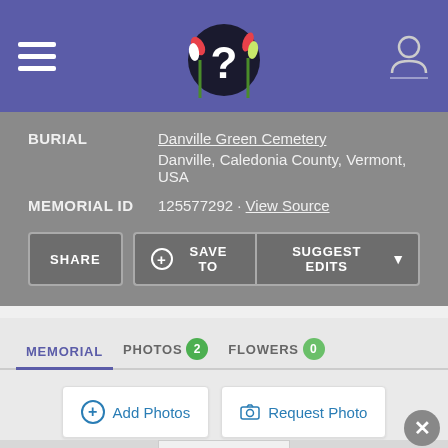[Figure (screenshot): Website header with purple background, hamburger menu icon on left, question mark logo in center, user profile icon on right]
BURIAL: Danville Green Cemetery
Danville, Caledonia County, Vermont, USA
MEMORIAL ID: 125577292 · View Source
SHARE | + SAVE TO | SUGGEST EDITS
MEMORIAL | PHOTOS 2 | FLOWERS 0
+ Add Photos | Camera Request Photo